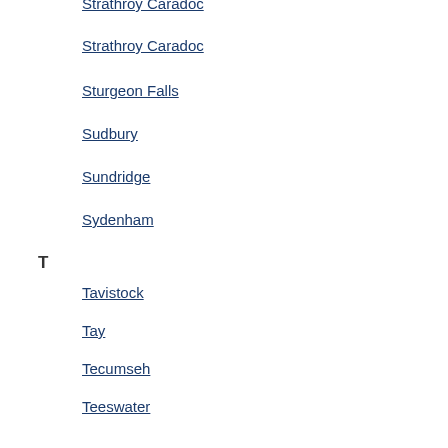Strathroy Caradoc
Sturgeon Falls
Sudbury
Sundridge
Sydenham
T
Tavistock
Tay
Tecumseh
Teeswater
Temagami
Thames Centre
Thamesford
The Archipelago
The Blue Mountains